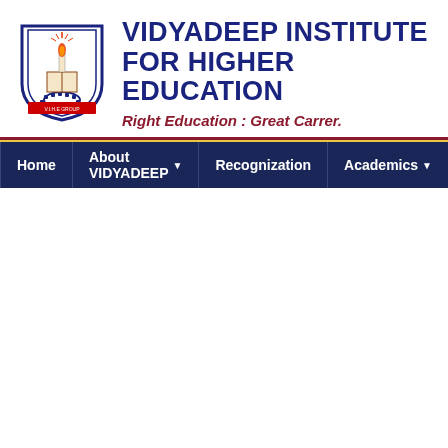[Figure (logo): Vidyadeep Institute shield/crest logo with candle flame, book, and gear motifs in blue and red]
VIDYADEEP INSTITUTE FOR HIGHER EDUCATION
Right Education : Great Carrer.
Home | About VIDYADEEP ▾ | Recognization | Academics ▾ | Onlin...